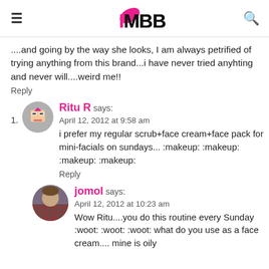IMBB
....and going by the way she looks, I am always petrified of trying anything from this brand...i have never tried anyhting and never will....weird me!!
Reply
1. Ritu R says:
April 12, 2012 at 9:58 am
i prefer my regular scrub+face cream+face pack for mini-facials on sundays... :makeup: :makeup: :makeup: :makeup:
Reply
jomol says:
April 12, 2012 at 10:23 am
Wow Ritu....you do this routine every Sunday :woot: :woot: :woot: what do you use as a face cream.... mine is oily